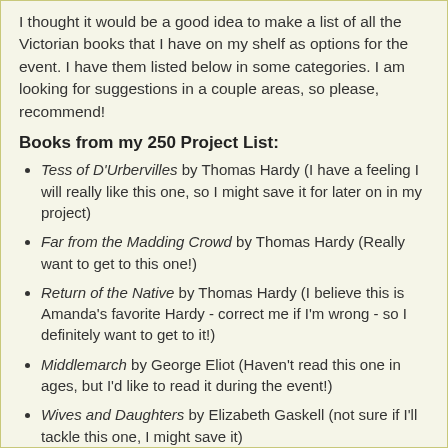I thought it would be a good idea to make a list of all the Victorian books that I have on my shelf as options for the event. I have them listed below in some categories. I am looking for suggestions in a couple areas, so please, recommend!
Books from my 250 Project List:
Tess of D'Urbervilles by Thomas Hardy (I have a feeling I will really like this one, so I might save it for later on in my project)
Far from the Madding Crowd by Thomas Hardy (Really want to get to this one!)
Return of the Native by Thomas Hardy (I believe this is Amanda's favorite Hardy - correct me if I'm wrong - so I definitely want to get to it!)
Middlemarch by George Eliot (Haven't read this one in ages, but I'd like to read it during the event!)
Wives and Daughters by Elizabeth Gaskell (not sure if I'll tackle this one, I might save it)